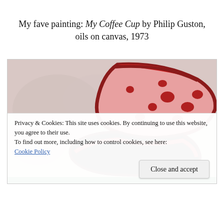My fave painting: My Coffee Cup by Philip Guston, oils on canvas, 1973
[Figure (photo): A close-up photograph of Philip Guston's painting 'My Coffee Cup' (1973), showing a red and pink cup form with dark outlines against a pale grayish-pink background, with a green strip visible at the bottom edge.]
Privacy & Cookies: This site uses cookies. By continuing to use this website, you agree to their use.
To find out more, including how to control cookies, see here: Cookie Policy